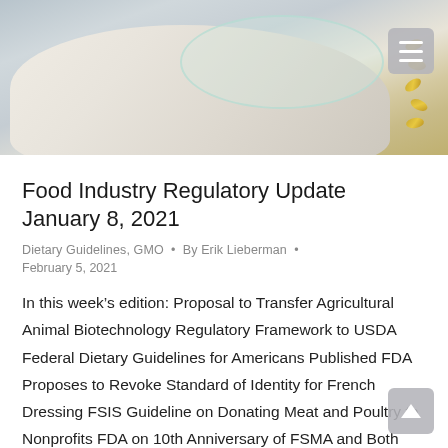[Figure (photo): Photo of a gloved hand holding a petri dish with golden seeds/beans, laboratory setting]
Food Industry Regulatory Update January 8, 2021
Dietary Guidelines, GMO • By Erik Lieberman •
February 5, 2021
In this week's edition: Proposal to Transfer Agricultural Animal Biotechnology Regulatory Framework to USDA Federal Dietary Guidelines for Americans Published FDA Proposes to Revoke Standard of Identity for French Dressing FSIS Guideline on Donating Meat and Poultry to Nonprofits FDA on 10th Anniversary of FSMA and Both Proposed Final SNAPWork Rules Published